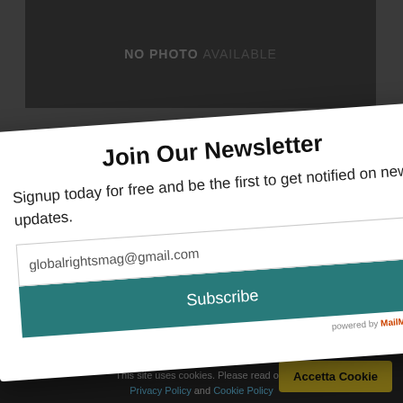[Figure (screenshot): Website background with dark 'NO PHOTO AVAILABLE' image area and gray background]
[Figure (screenshot): Newsletter signup modal popup with title 'Join Our Newsletter', email input field showing 'globalrightsmag@gmail.com', and teal Subscribe button]
Utilizziamo i cookie pe e... e la migliore esperienza sul nostro sito. Se conti... questo sito noi assumiamo che tu ne sia f...
This site uses cookies. Please read our Privacy Policy and Cookie Policy
Accetta Cookie